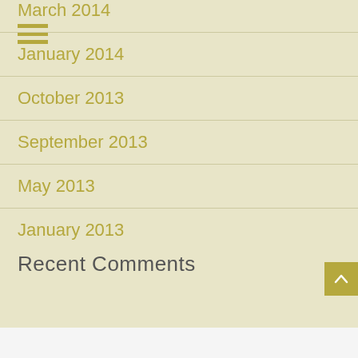March 2014
January 2014
October 2013
September 2013
May 2013
January 2013
Recent Comments